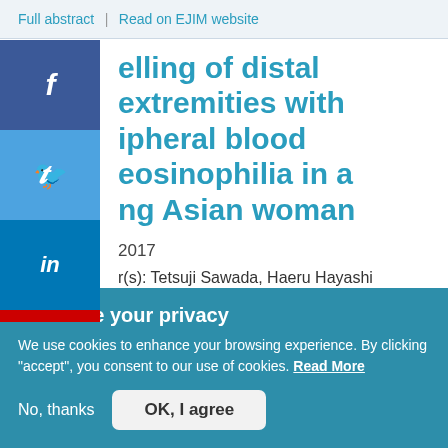Full abstract | Read on EJIM website
Swelling of distal extremities with peripheral blood eosinophilia in a young Asian woman
2017
Author(s): Tetsuji Sawada, Haeru Hayashi
We value your privacy
We use cookies to enhance your browsing experience. By clicking "accept", you consent to our use of cookies. Read More
No, thanks   OK, I agree